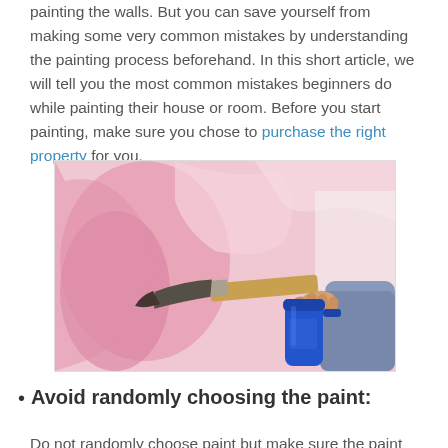painting the walls. But you can save yourself from making some very common mistakes by understanding the painting process beforehand. In this short article, we will tell you the most common mistakes beginners do while painting their house or room. Before you start painting, make sure you chose to purchase the right property for you.
[Figure (photo): A person painting a wall pink using a large paintbrush while holding a blue spray bottle.]
Avoid randomly choosing the paint:
Do not randomly choose paint but make sure the paint you